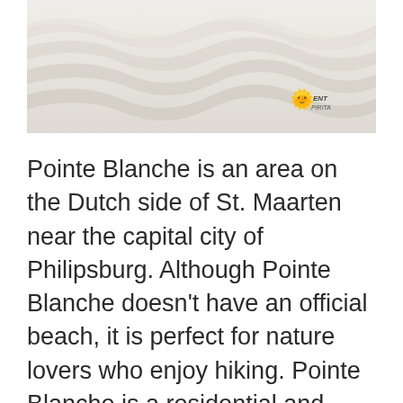[Figure (photo): Close-up photograph of white sand dunes with soft wave-like ripple textures, very light and airy appearance. A small sun emoji watermark and italic text logo appear in the bottom-right corner of the image.]
Pointe Blanche is an area on the Dutch side of St. Maarten near the capital city of Philipsburg. Although Pointe Blanche doesn't have an official beach, it is perfect for nature lovers who enjoy hiking. Pointe Blanche is a residential and safe area that is located just 0.5 miles (850 m) from the Cruise Port of St. Maarten on the Dutch side of the island and 8 miles (12.8 km)